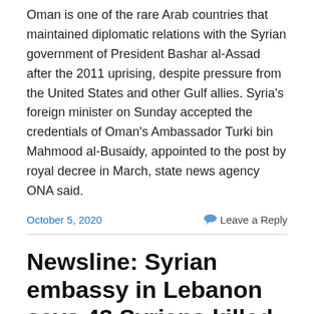Oman is one of the rare Arab countries that maintained diplomatic relations with the Syrian government of President Bashar al-Assad after the 2011 uprising, despite pressure from the United States and other Gulf allies. Syria's foreign minister on Sunday accepted the credentials of Oman's Ambassador Turki bin Mahmood al-Busaidy, appointed to the post by royal decree in March, state news agency ONA said.
October 5, 2020
Leave a Reply
Newsline: Syrian embassy in Lebanon says 43 Syrians killed in Beirut explosion